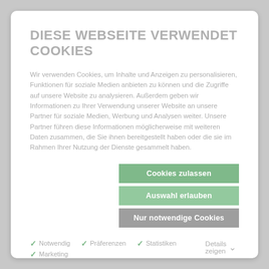DIESE WEBSEITE VERWENDET COOKIES
Wir verwenden Cookies, um Inhalte und Anzeigen zu personalisieren, Funktionen für soziale Medien anbieten zu können und die Zugriffe auf unsere Website zu analysieren. Außerdem geben wir Informationen zu Ihrer Verwendung unserer Website an unsere Partner für soziale Medien, Werbung und Analysen weiter. Unsere Partner führen diese Informationen möglicherweise mit weiteren Daten zusammen, die Sie ihnen bereitgestellt haben oder die sie im Rahmen Ihrer Nutzung der Dienste gesammelt haben.
Cookies zulassen
Auswahl erlauben
Nur notwendige Cookies
✓ Notwendig
✓ Marketing
✓ Präferenzen
✓ Statistiken
Details zeigen